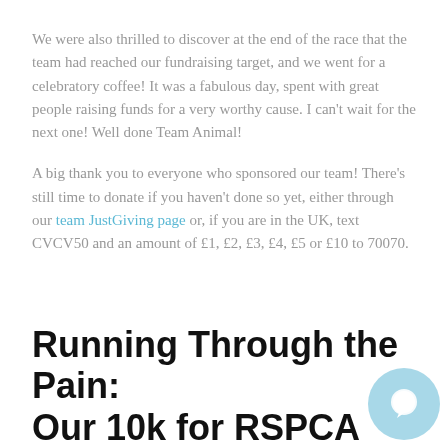We were also thrilled to discover at the end of the race that the team had reached our fundraising target, and we went for a celebratory coffee! It was a fabulous day, spent with great people raising funds for a very worthy cause. I can't wait for the next one! Well done Team Animal!
A big thank you to everyone who sponsored our team! There's still time to donate if you haven't done so yet, either through our team JustGiving page or, if you are in the UK, text CVCV50 and an amount of £1, £2, £3, £4, £5 or £10 to 70070.
Running Through the Pain: Our 10k for RSPCA